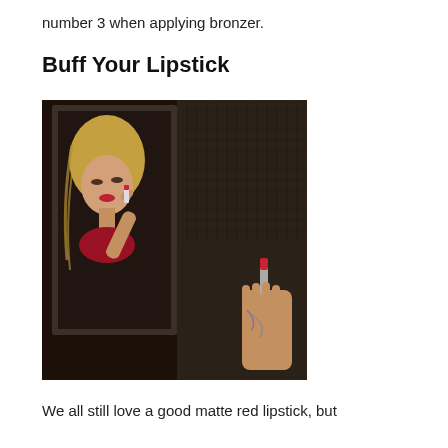number 3 when applying bronzer.
Buff Your Lipstick
[Figure (photo): A woman with long blonde hair applies red lipstick while looking in a bathroom mirror. She is wearing a red top. The reflection shows her from behind. A tattooed hand holds a red lipstick tube on the right side of the image. The background is dark with a tiled wall visible.]
We all still love a good matte red lipstick, but